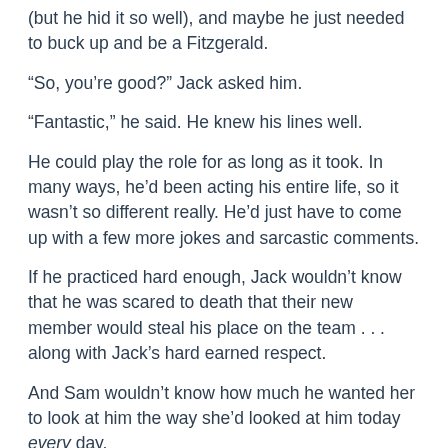(but he hid it so well), and maybe he just needed to buck up and be a Fitzgerald.
“So, you’re good?” Jack asked him.
“Fantastic,” he said. He knew his lines well.
He could play the role for as long as it took. In many ways, he’d been acting his entire life, so it wasn’t so different really. He’d just have to come up with a few more jokes and sarcastic comments.
If he practiced hard enough, Jack wouldn’t know that he was scared to death that their new member would steal his place on the team . . . along with Jack’s hard earned respect.
And Sam wouldn’t know how much he wanted her to look at him the way she’d looked at him today every day.
And Danny wouldn’t know how badly Martin ached for a return to a friendship that, despite its rocky beginnings, had grown into one of the